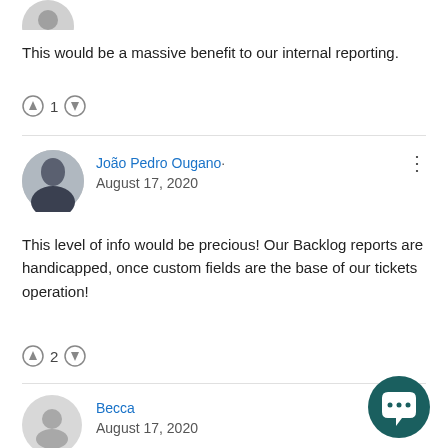This would be a massive benefit to our internal reporting.
↑ 1 ↓
João Pedro Ougano· August 17, 2020
This level of info would be precious! Our Backlog reports are handicapped, once custom fields are the base of our tickets operation!
↑ 2 ↓
Becca August 17, 2020